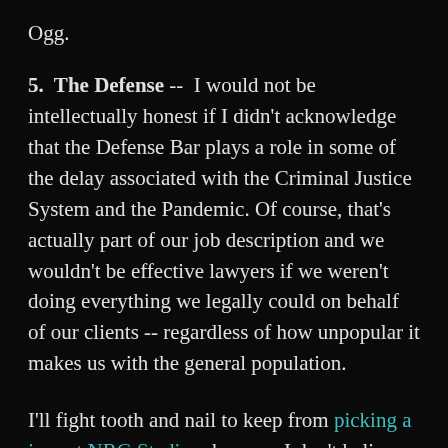Ogg.
5.  The Defense --  I would not be intellectually honest if I didn't acknowledge that the Defense Bar plays a role in some of the delay associated with the Criminal Justice System and the Pandemic. Of course, that's actually part of our job description and we wouldn't be effective lawyers if we weren't doing everything we legally could on behalf of our clients -- regardless of how unpopular it makes us with the general population.
I'll fight tooth and nail to keep from picking a jury at NRG Stadium because I don't believe that it can be done effectively.  If that means my client stays out on bond while I continue to delay going to trial, I'm fine with that.  I love going to trial and I think anyone would be